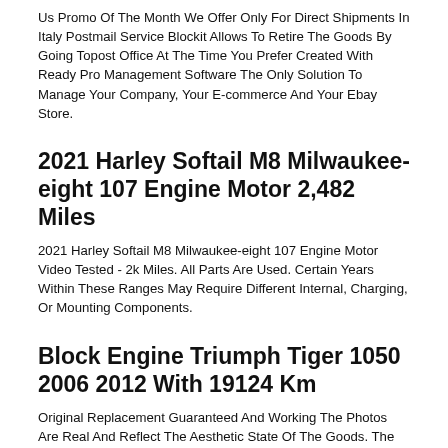Us Promo Of The Month We Offer Only For Direct Shipments In Italy Postmail Service Blockit Allows To Retire The Goods By Going Topost Office At The Time You Prefer Created With Ready Pro Management Software The Only Solution To Manage Your Company, Your E-commerce And Your Ebay Store.
2021 Harley Softail M8 Milwaukee-eight 107 Engine Motor 2,482 Miles
2021 Harley Softail M8 Milwaukee-eight 107 Engine Motor Video Tested - 2k Miles. All Parts Are Used. Certain Years Within These Ranges May Require Different Internal, Charging, Or Mounting Components.
Block Engine Triumph Tiger 1050 2006 2012 With 19124 Km
Original Replacement Guaranteed And Working The Photos Are Real And Reflect The Aesthetic State Of The Goods. The Photo Of The Spare Part Is Therefore Descriptive, you Will Receive The Goods Exactly As You See In The Picture. All Our Spare Parts Are Tested And Working. For Doubts, Questions, Requests For Further Photos, Please Do Not Hesitate To Contact Us Promo Of The Month We Offer Only For Direct Shipments In Italy